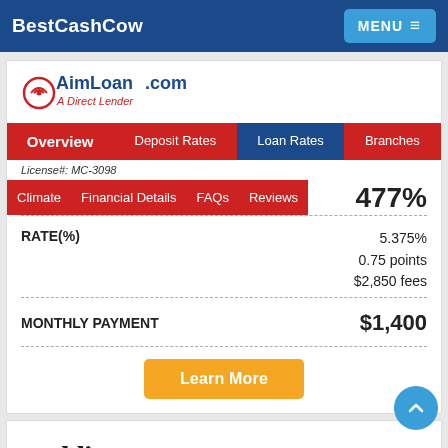BestCashCow  MENU
[Figure (logo): AimLoan.com - A Direct Lender logo]
Overview | Deposit Rates | Loan Rates | Branches
License#: MC-3098
Climate | Financial Details | FAQs | Reviews  477%
|  |  |
| --- | --- |
| RATE(%) | 5.375%
0.75 points
$2,850 fees |
| MONTHLY PAYMENT | $1,400 |
Learn More
[Figure (logo): paddio logo]